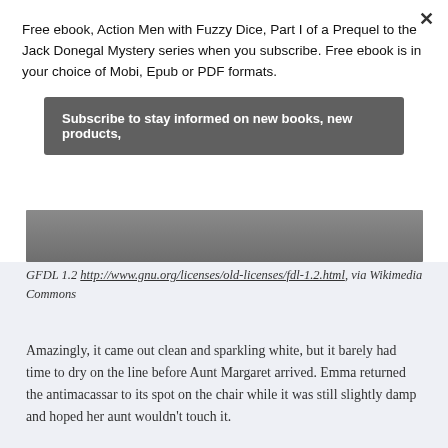Free ebook, Action Men with Fuzzy Dice, Part I of a Prequel to the Jack Donegal Mystery series when you subscribe. Free ebook is in your choice of Mobi, Epub or PDF formats.
Subscribe to stay informed on new books, new products,
[Figure (photo): Dark gray/charcoal textured surface, appears to be a close-up of a wooden or stone surface.]
GFDL 1.2 http://www.gnu.org/licenses/old-licenses/fdl-1.2.html, via Wikimedia Commons
Amazingly, it came out clean and sparkling white, but it barely had time to dry on the line before Aunt Margaret arrived. Emma returned the antimacassar to its spot on the chair while it was still slightly damp and hoped her aunt wouldn't touch it.